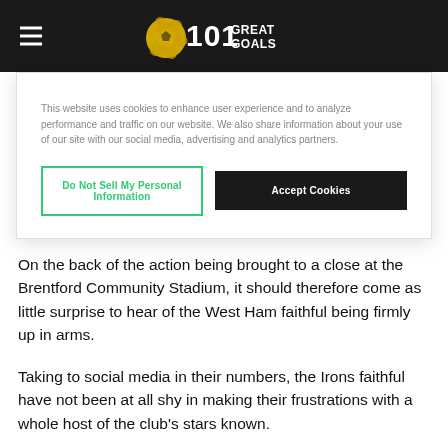101 Great Goals
This website uses cookies to enhance user experience and to analyze performance and traffic on our website. We also share information about your use of our site with our social media, advertising and analytics partners.
Do Not Sell My Personal Information | Accept Cookies
On the back of the action being brought to a close at the Brentford Community Stadium, it should therefore come as little surprise to hear of the West Ham faithful being firmly up in arms.
Taking to social media in their numbers, the Irons faithful have not been at all shy in making their frustrations with a whole host of the club's stars known.
None, however, has been singled out for more widespread